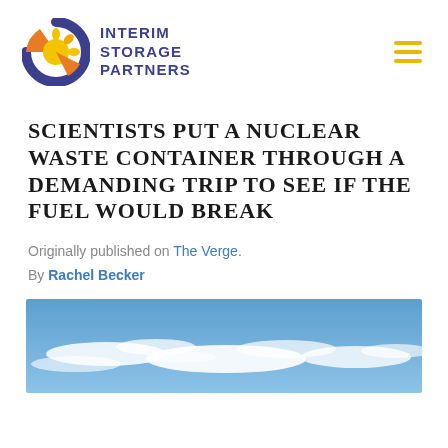[Figure (logo): Interim Storage Partners logo with circular sun/atom graphic and company name in blue]
Scientists put a nuclear waste container through a demanding trip to see if the fuel would break
Originally published on The Verge.
By Rachel Becker
[Figure (photo): Sky with blue background and wispy white clouds]